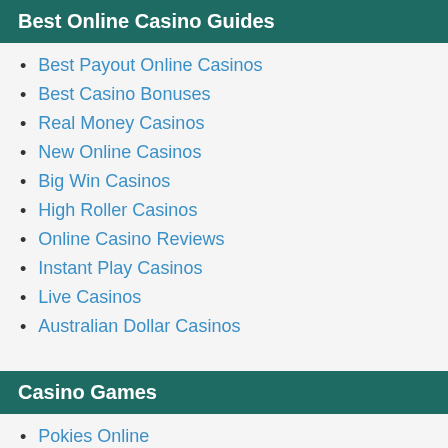Best Online Casino Guides
Best Payout Online Casinos
Best Casino Bonuses
Real Money Casinos
New Online Casinos
Big Win Casinos
High Roller Casinos
Online Casino Reviews
Instant Play Casinos
Live Casinos
Australian Dollar Casinos
Casino Games
Pokies Online
Craps Online
Poker Online
Blackjack Online
Bingo Online
Roulette Online
Video Poker Online